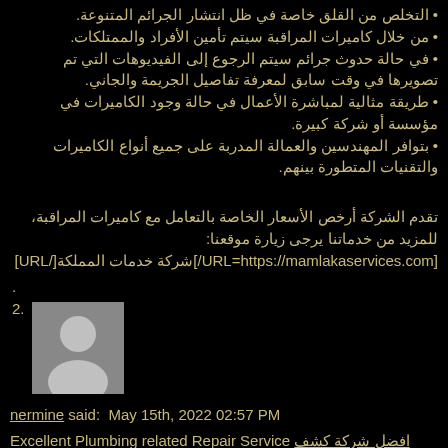• التخلص من القلق خاصة في ظل انتشار الجرائم المتنوعة.
• من خلال كاميرات المراقبة سيتم تأمين الأفراد والممتلكات.
• في حالة حدوث جرائم سيتم الرجوع إلى الفيديوهات التي تم تصويرها في وقت سابق لمعرفة تفاصيل الجريمة والجاني.
• طريقة مثالية لمباشرة الأعمال في حالة وجود الكاميرات في مؤسسة أو شركة كبيرة.
• بتوافر المهندسين والعمالة المدربة على جميع أنواع الكاميرات والتقنيات المتطورة بينهم.
تقدم الشركة أرخص الأسعار الخاصة بالتعامل مع كاميرات المراقبة، للمزيد من خدماتنا يرجى زيارة موقعنا: [URL=https://mamlakaservices.com/]شركة خدمات المملكة[/URL]
.
[Figure (photo): Generic grey avatar/profile placeholder image showing a silhouette of a person]
2.
nermine said: May 15th, 2022 02:57 PM
Excellent Plumbing related Repair Service افضل شركة كشف تسربات المياه ببريدة With Your current Local Chatsworth Plumber
Selecting a new or perhaps replacement HVAC unit